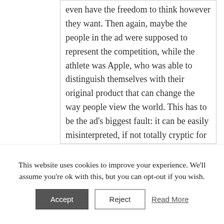even have the freedom to think however they want. Then again, maybe the people in the ad were supposed to represent the competition, while the athlete was Apple, who was able to distinguish themselves with their original product that can change the way people view the world. This has to be the ad's biggest fault: it can be easily misinterpreted, if not totally cryptic for those who have never heard of Orwell's novel. Sure, the cinematography gives the idea, but the slogan can be pretty confusing to some and, although very catchy, doesn't really get the point across with every member of the audience. Other than that, this commercial is very clever and well made and really makes you think about the way technology is viewed under a different light today, since now
This website uses cookies to improve your experience. We'll assume you're ok with this, but you can opt-out if you wish.